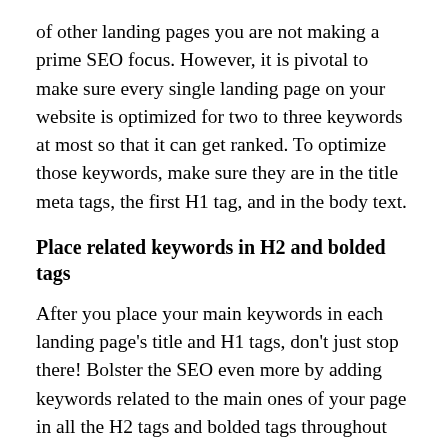of other landing pages you are not making a prime SEO focus. However, it is pivotal to make sure every single landing page on your website is optimized for two to three keywords at most so that it can get ranked. To optimize those keywords, make sure they are in the title meta tags, the first H1 tag, and in the body text.
Place related keywords in H2 and bolded tags
After you place your main keywords in each landing page's title and H1 tags, don't just stop there! Bolster the SEO even more by adding keywords related to the main ones of your page in all the H2 tags and bolded tags throughout the entire page. This will provide even more information for Google to determine what this page is about and what it